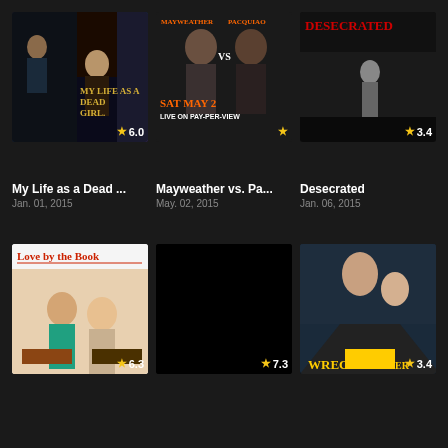[Figure (photo): Movie poster for My Life as a Dead Girl with rating 6.0]
[Figure (photo): Movie poster for Mayweather vs Pacquiao with rating star shown]
[Figure (photo): Movie poster for Desecrated with rating 3.4]
My Life as a Dead ...
Jan. 01, 2015
Mayweather vs. Pa...
May. 02, 2015
Desecrated
Jan. 06, 2015
[Figure (photo): Movie poster for Love by the Book with rating 6.3]
[Figure (photo): Black/empty movie poster with rating 7.3]
[Figure (photo): Movie poster for Wrecker with rating 3.4]